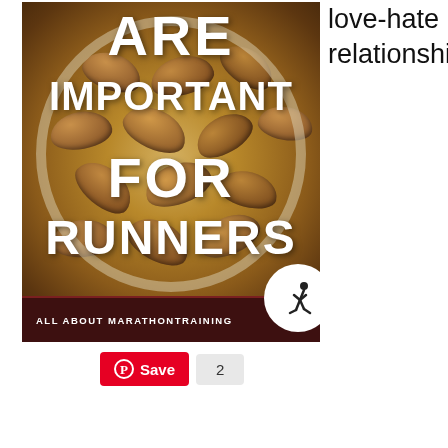[Figure (photo): A bowl of almonds viewed from above with white bold text overlaid reading ARE IMPORTANT FOR RUNNERS, with ALL ABOUT MARATHONTRAINING branding at the bottom and a runner icon in a white circle.]
love-hate relationship.
[Figure (screenshot): Pinterest Save button with count of 2]